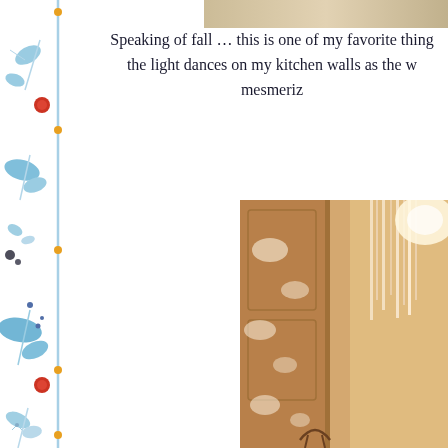[Figure (illustration): Decorative vertical border on the left side with watercolor-style blue botanical/floral illustrations and small orange dots along a thin vertical line]
[Figure (photo): Partial top photo showing light patterns on a surface]
Speaking of fall … this is one of my favorite thing the light dances on my kitchen walls as the w mesmeriz
[Figure (photo): Interior photo of a kitchen with warm golden light filtering through lace curtains onto wooden walls and door trim, creating dappled light patterns]